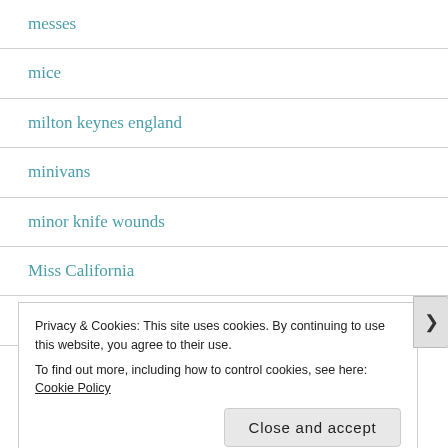messes
mice
milton keynes england
minivans
minor knife wounds
Miss California
miss teen usa
Privacy & Cookies: This site uses cookies. By continuing to use this website, you agree to their use. To find out more, including how to control cookies, see here: Cookie Policy
Close and accept